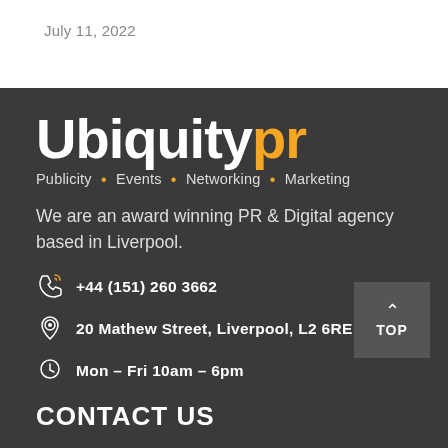July 11, 2022
[Figure (logo): UbiquityPR logo with white 'Ubiquity' and orange 'pr' text on dark background, with tagline: Publicity • Events • Networking • Marketing]
We are an award winning PR & Digital agency based in Liverpool.
+44 (151) 260 3662
20 Mathew Street, Liverpool, L2 6RE
Mon - Fri 10am - 6pm
CONTACT US